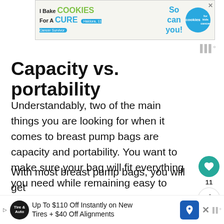[Figure (screenshot): Top advertisement banner: 'I Bake COOKIES For A CURE' with child photo and 'So can you! cookies for kids cancer' logo]
Capacity vs. portability
Understandably, two of the main things you are looking for when it comes to breast pump bags are capacity and portability. You want to make sure your bag will fit everything you need while remaining easy to carry.
With most breast pump bags, you will get
[Figure (screenshot): Bottom advertisement banner: 'Up To $110 Off Instantly on New Tires + $40 Off Alignments' with Tire & Auto logo and navigation icon]